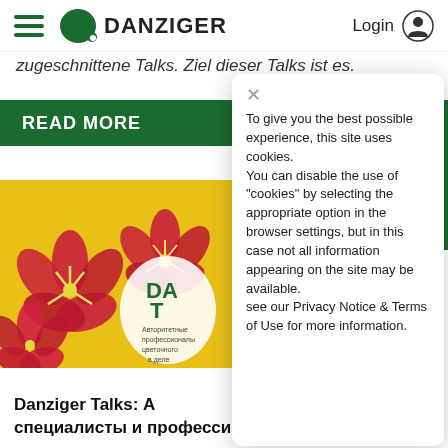Danziger — Login
zugeschnittene Talks. Ziel dieser Talks ist es.
READ MORE
[Figure (photo): Photo of pink and yellow petunias with star pattern on yellow background, with Danziger branding overlay]
Danziger Talks: А
специалисты и профессионалы
To give you the best possible experience, this site uses cookies.
You can disable the use of "cookies" by selecting the appropriate option in the browser settings, but in this case not all information appearing on the site may be available.
see our Privacy Notice & Terms of Use for more information.